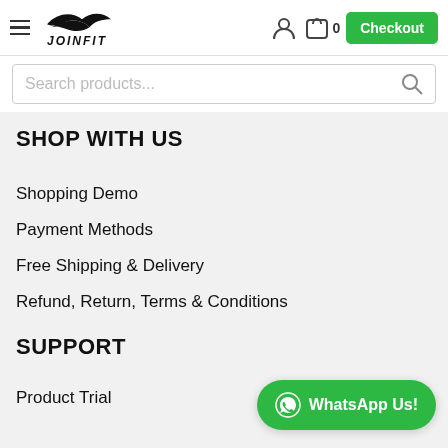JOINFIT — Navigation header with hamburger menu, logo, user icon, cart (0), and Checkout button
Search products...
SHOP WITH US
Shopping Demo
Payment Methods
Free Shipping & Delivery
Refund, Return, Terms & Conditions
SUPPORT
Product Trial
WhatsApp Us!